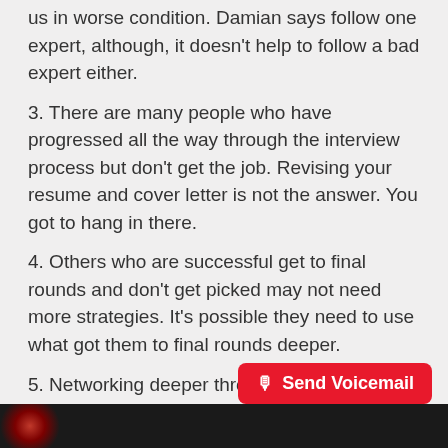us in worse condition. Damian says follow one expert, although, it doesn't help to follow a bad expert either.
3. There are many people who have progressed all the way through the interview process but don't get the job. Revising your resume and cover letter is not the answer. You got to hang in there.
4. Others who are successful get to final rounds and don't get picked may not need more strategies. It's possible they need to use what got them to final rounds deeper.
5. Networking deeper throughout the interviewing process will provide you deeper intel to impress employers. This will also help you identify the right employer for you. More people will bring more information to process and figure where you can further your goal in adding value.
[Figure (screenshot): Red 'Send Voicemail' button with microphone icon in bottom right corner]
[Figure (photo): Dark video thumbnail strip at the bottom of the page]